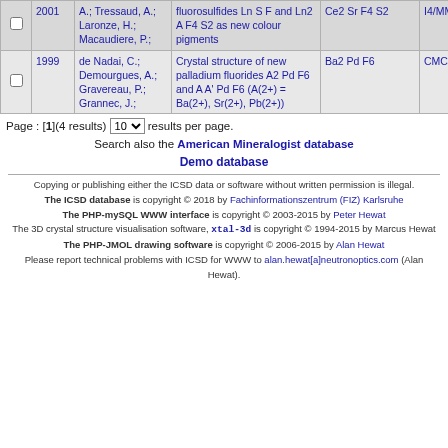|  | Year | Authors | Title | Formula | Space Group |
| --- | --- | --- | --- | --- | --- |
| ☐ | 2001 | A.; Tressaud, A.; Laronze, H.; Macaudiere, P.; | fluorosulfides Ln S F and Ln2 A F4 S2 as new colour pigments | Ce2 Sr F4 S2 | I4/MMM |
| ☐ | 1999 | de Nadai, C.; Demourgues, A.; Gravereau, P.; Grannec, J.; | Crystal structure of new palladium fluorides A2 Pd F6 and A A' Pd F6 (A(2+) = Ba(2+), Sr(2+), Pb(2+)) | Ba2 Pd F6 | CMCA |
Page : [1](4 results) 10 results per page.
Search also the American Mineralogist database
Demo database
Copying or publishing either the ICSD data or software without written permission is illegal.
The ICSD database is copyright © 2018 by Fachinformationszentrum (FIZ) Karlsruhe. The PHP-mySQL WWW interface is copyright © 2003-2015 by Peter Hewat. The 3D crystal structure visualisation software, xtal-3d is copyright © 1994-2015 by Marcus Hewat. The PHP-JMOL drawing software is copyright © 2006-2015 by Alan Hewat. Please report technical problems with ICSD for WWW to alan.hewat[a]neutronoptics.com (Alan Hewat).